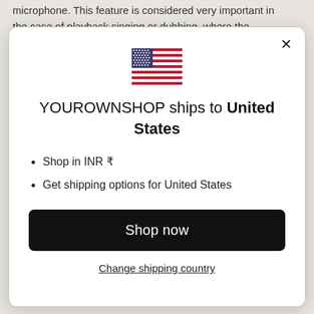microphone. This feature is considered very important in the case of playback singing or dubbing, where the
[Figure (illustration): US flag emoji/icon displayed in modal dialog]
YOUROWNSHOP ships to United States
Shop in INR ₹
Get shipping options for United States
Shop now
Change shipping country